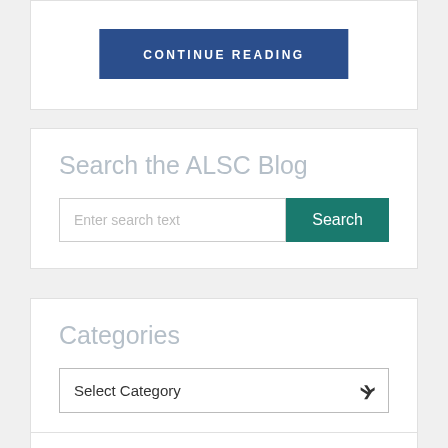Continue Reading
Search the ALSC Blog
Enter search text
Search
Categories
Select Category